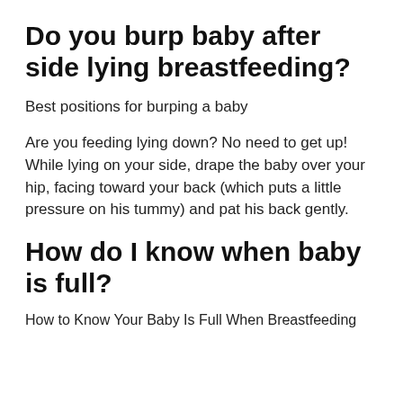Do you burp baby after side lying breastfeeding?
Best positions for burping a baby
Are you feeding lying down? No need to get up! While lying on your side, drape the baby over your hip, facing toward your back (which puts a little pressure on his tummy) and pat his back gently.
How do I know when baby is full?
How to Know Your Baby Is Full When Breastfeeding